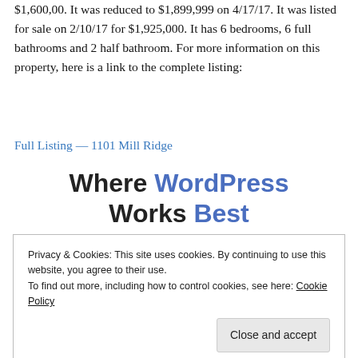$1,600,00.  It was reduced to $1,899,999 on 4/17/17.  It was listed for sale on 2/10/17 for $1,925,000.  It has 6 bedrooms, 6 full bathrooms and 2 half bathroom.  For more information on this property, here is a link to the complete listing:
Full Listing — 1101 Mill Ridge
Where WordPress Works Best
Privacy & Cookies: This site uses cookies. By continuing to use this website, you agree to their use.
To find out more, including how to control cookies, see here: Cookie Policy